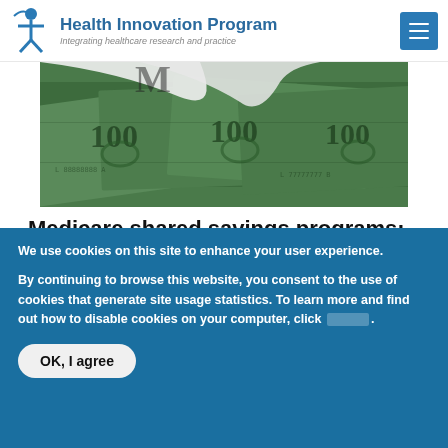Health Innovation Program — Integrating healthcare research and practice
[Figure (photo): Close-up photo of US hundred dollar bills with a stethoscope, showing green and black currency details]
Medicare shared savings programs: Higher cost ACOs more likely to achieve savings
In a recent study, the PATH collaborative examined the 2013 results for ...
We use cookies on this site to enhance your user experience. By continuing to browse this website, you consent to the use of cookies that generate site usage statistics. To learn more and find out how to disable cookies on your computer, click [here].
OK, I agree